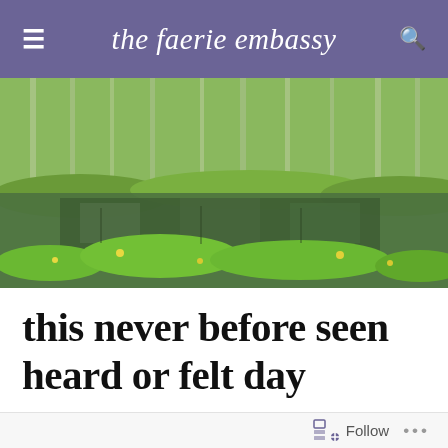the faerie embassy
[Figure (photo): Outdoor nature scene showing a marshy pond or wetland area with green aquatic plants and lily pads covering the water surface, surrounded by tall deciduous trees with light green foliage in the background.]
this never before seen heard or felt day
Follow ...